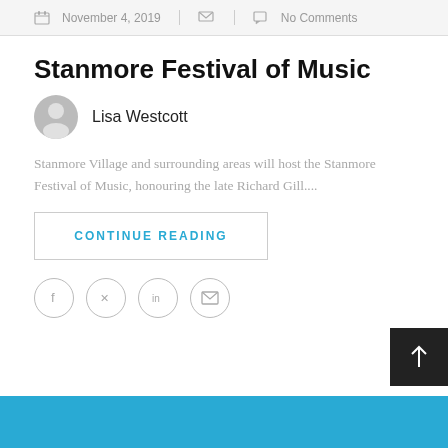November 4, 2019   No Comments
Stanmore Festival of Music
Lisa Westcott
Stanmore Village and surrounding areas will host the Stanmore Festival of Music, honouring the late Richard Gill....
CONTINUE READING
[Figure (other): Social share icons: Facebook, Twitter, LinkedIn, Email in circles]
[Figure (other): Back to top button (dark square with upward arrow)]
[Figure (other): Blue banner bar at bottom of page]